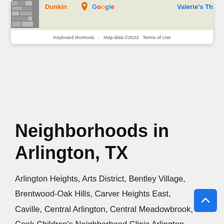[Figure (map): Partial Google Maps screenshot showing Dunkin, Google logo, Valerie's Th (truncated), with keyboard shortcuts and map data copyright 2022 footer]
Neighborhoods in Arlington, TX
Arlington Heights, Arts District, Bentley Village, Brentwood-Oak Hills, Carver Heights East, Caville, Central Arlington, Central Meadowbrook, Cook Children's Neighborhood Clinic Arlington, Cravens Park, Eastern Hills, Echo Heights, El Poly Pyramid, Fish Creek Neighborhood Park, Georgetown Commons